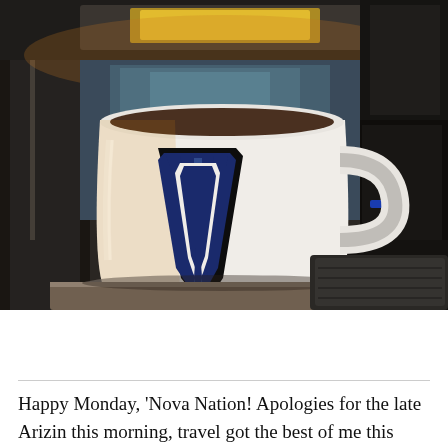[Figure (photo): A white Villanova University coffee mug with a large dark navy 'V' logo on the front, sitting on a surface near a coffee machine. Kitchen/office background with blurred appliances.]
Happy Monday, 'Nova Nation! Apologies for the late Arizin this morning, travel got the best of me this